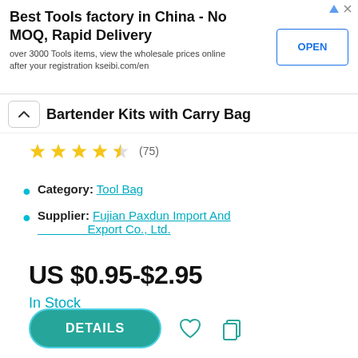[Figure (screenshot): Advertisement banner: Best Tools factory in China - No MOQ, Rapid Delivery. OPEN button.]
Bartender Kits with Carry Bag
★★★★½ (75)
Category: Tool Bag
Supplier: Fujian Paxdun Import And Export Co., Ltd.
US $0.95-$2.95
In Stock
DETAILS